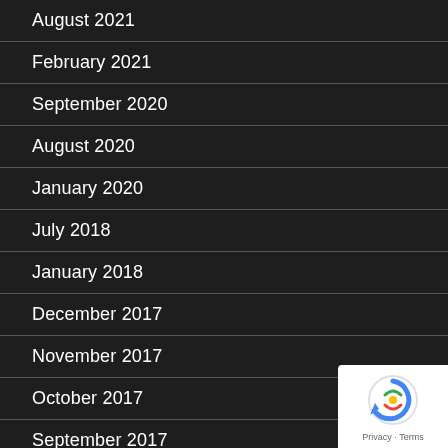August 2021
February 2021
September 2020
August 2020
January 2020
July 2018
January 2018
December 2017
November 2017
October 2017
September 2017
[Figure (logo): Google reCAPTCHA badge with Privacy and Terms links]